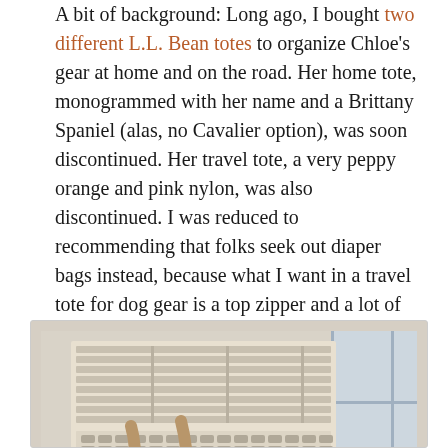A bit of background: Long ago, I bought two different L.L. Bean totes to organize Chloe's gear at home and on the road. Her home tote, monogrammed with her name and a Brittany Spaniel (alas, no Cavalier option), was soon discontinued. Her travel tote, a very peppy orange and pink nylon, was also discontinued. I was reduced to recommending that folks seek out diaper bags instead, because what I want in a travel tote for dog gear is a top zipper and a lot of outside pockets.
[Figure (photo): Indoor photo showing a white/beige radiator cover with a grid/slat pattern and decorative perforated design at the bottom, with tan/beige handles or straps visible in front of it, and a dark table surface in the foreground. A window with natural light is visible in the background to the right.]